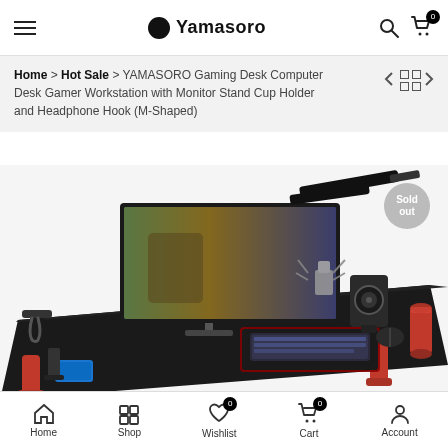Yamasoro
Home > Hot Sale > YAMASORO Gaming Desk Computer Desk Gamer Workstation with Monitor Stand Cup Holder and Headphone Hook (M-Shaped)
[Figure (photo): Gaming desk product photo showing a black M-shaped desk with red legs, featuring a monitor, keyboard, speakers, mouse, phone stand, headphone hook, and cup holder. A 'Sold out' badge appears in the top right.]
Home  Shop  Wishlist  Cart  Account